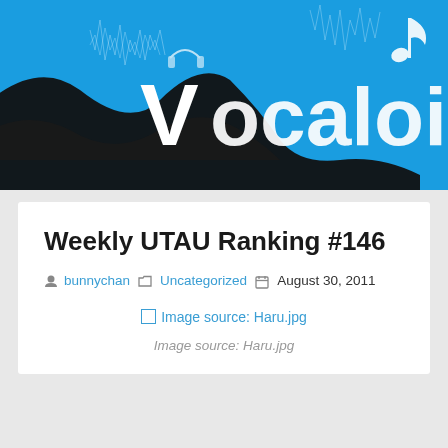[Figure (illustration): Vocaloidism website header banner — bright blue background with black ribbon/wave design elements, white waveform graphics, and white text reading 'Vocaloidism' with a music note icon on the right.]
Weekly UTAU Ranking #146
bunnychan   Uncategorized   August 30, 2011
[Figure (photo): Broken image placeholder linking to 'Image source: Haru.jpg']
Image source: Haru.jpg